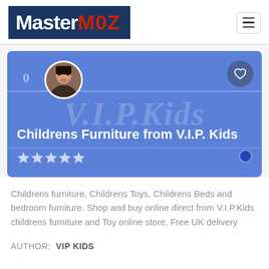MasterMOZ
[Figure (screenshot): MasterMOZ website card showing 'Childrens Furniture from V.I.P. Kids' with a blue banner, profile avatar photo of a woman, heart icon, five stars, and V.I.P.Kids watermark text.]
Childrens Furniture from V.I.P. Kids
Childrens furniture, Childrens Toys, Childrens Beds and bedroom furniture. Shop and buy online direct from V.I.P.Kids childrens furniture and Toy online store, Free UK delivery
AUTHOR:  VIP KIDS